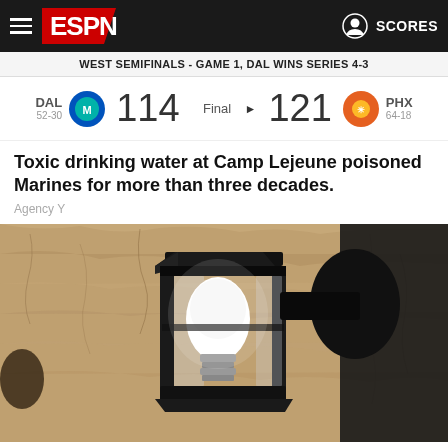ESPN - WEST SEMIFINALS - GAME 1, DAL WINS SERIES 4-3 | DAL 52-30  114  Final  121  PHX 64-18
Toxic drinking water at Camp Lejeune poisoned Marines for more than three decades.
Agency Y
[Figure (photo): Close-up photo of a black iron outdoor lantern wall sconce mounted on a textured stone or stucco wall. The lantern has glass panels and contains a white bulb.]